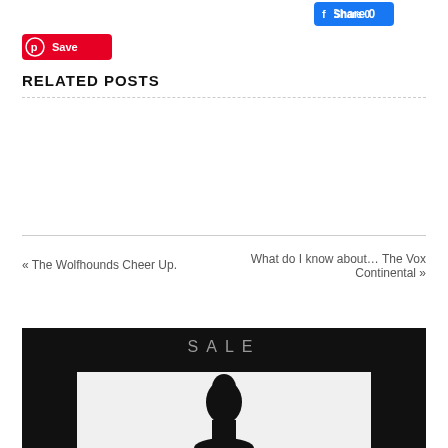[Figure (screenshot): Facebook Share button with count 0, blue background]
[Figure (screenshot): Pinterest Save button, red background with Pinterest icon]
RELATED POSTS
[Figure (other): Empty related posts area between two horizontal dividers]
« The Wolfhounds Cheer Up.
What do I know about… The Vox Continental »
[Figure (photo): Advertisement image on black background showing the word SALE in grey letters and a fashion model silhouette below in a white inner frame]